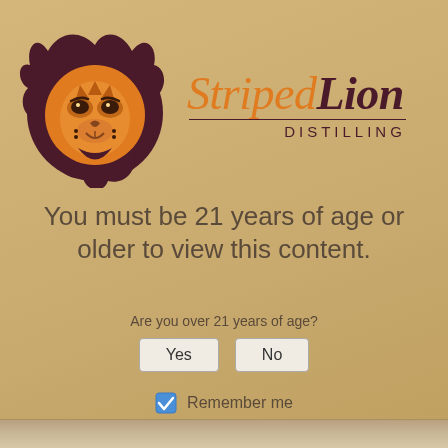[Figure (logo): Striped Lion Distilling logo: orange lion face with dark maroon mane on the left, brand name 'Striped Lion' in italic with 'DISTILLING' in small caps below on the right]
You must be 21 years of age or older to view this content.
Are you over 21 years of age?
Yes
No
Remember me